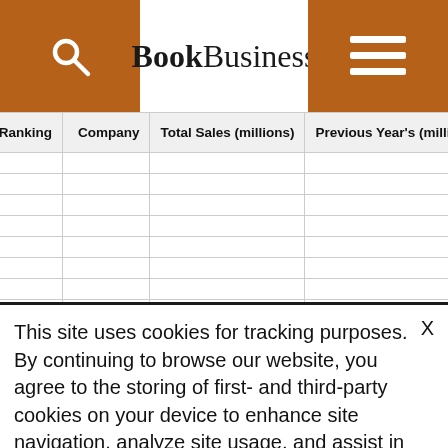BookBusiness
| Plant | 2001 Ranking | Previous Year's Ranking | Company | Total Sales (millions) | Previous Year's (millions) |
| --- | --- | --- | --- | --- | --- |
This site uses cookies for tracking purposes. By continuing to browse our website, you agree to the storing of first- and third-party cookies on your device to enhance site navigation, analyze site usage, and assist in our marketing and communication efforts.
Privacy Policy | Terms of Use | Close